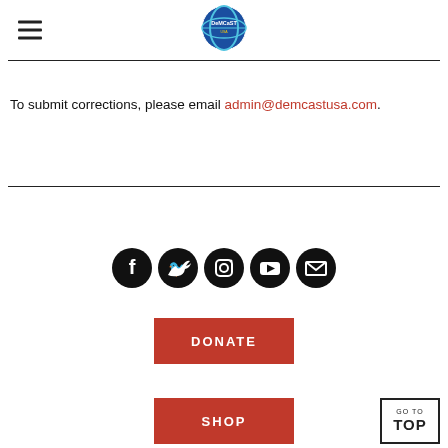[Figure (logo): DemCast USA circular logo in the header center]
To submit corrections, please email admin@demcastusa.com.
[Figure (infographic): Row of five black circular social media icon buttons: Facebook, Twitter, Instagram, YouTube, Email]
DONATE
SHOP
GO TO TOP